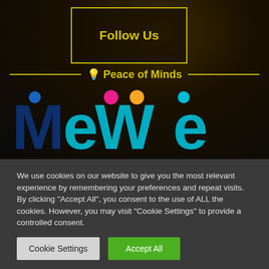Follow Us
Peace of Minds
[Figure (logo): MeWe social network logo with colorful dots above letters M, W, and e on dark background]
We use cookies on our website to give you the most relevant experience by remembering your preferences and repeat visits. By clicking "Accept All", you consent to the use of ALL the cookies. However, you may visit "Cookie Settings" to provide a controlled consent.